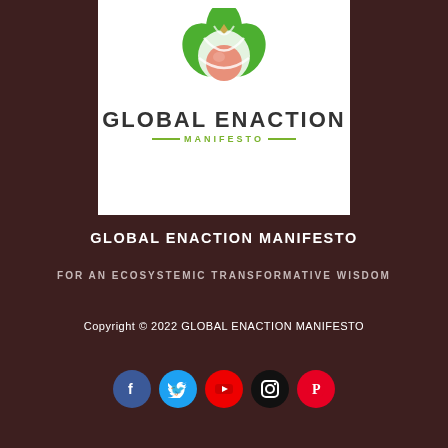[Figure (logo): Global Enaction Manifesto logo: a circular emblem with green leaf/heart shapes and a peach-colored circular element in the center, above the text GLOBAL ENACTION and MANIFESTO with green lines decorating the subtitle]
GLOBAL ENACTION MANIFESTO
FOR AN ECOSYSTEMIC TRANSFORMATIVE WISDOM
Copyright © 2022 GLOBAL ENACTION MANIFESTO
[Figure (infographic): Row of 5 social media icons: Facebook (blue), Twitter (light blue), YouTube (red), Instagram (black), Pinterest (red)]